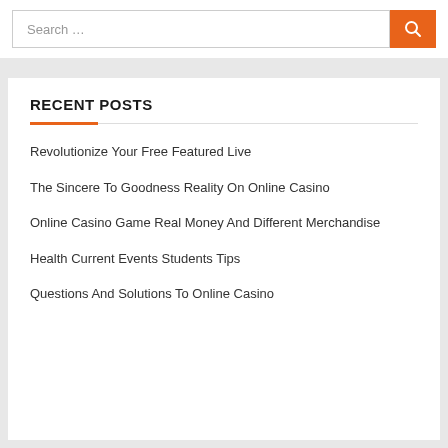[Figure (screenshot): Search bar with text 'Search …' and an orange search button with magnifying glass icon]
RECENT POSTS
Revolutionize Your Free Featured Live
The Sincere To Goodness Reality On Online Casino
Online Casino Game Real Money And Different Merchandise
Health Current Events Students Tips
Questions And Solutions To Online Casino